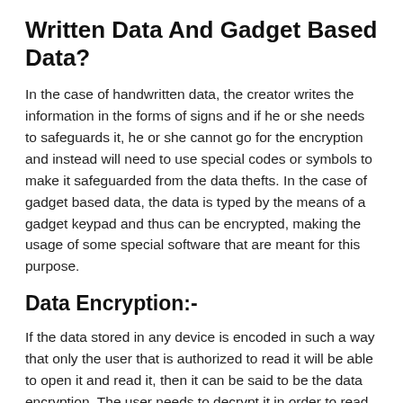Written Data And Gadget Based Data?
In the case of handwritten data, the creator writes the information in the forms of signs and if he or she needs to safeguards it, he or she cannot go for the encryption and instead will need to use special codes or symbols to make it safeguarded from the data thefts. In the case of gadget based data, the data is typed by the means of a gadget keypad and thus can be encrypted, making the usage of some special software that are meant for this purpose.
Data Encryption:-
If the data stored in any device is encoded in such a way that only the user that is authorized to read it will be able to open it and read it, then it can be said to be the data encryption. The user needs to decrypt it in order to read it and thus it is a safe way of data transfer, if the data needs to be safeguarded from the data intruders.